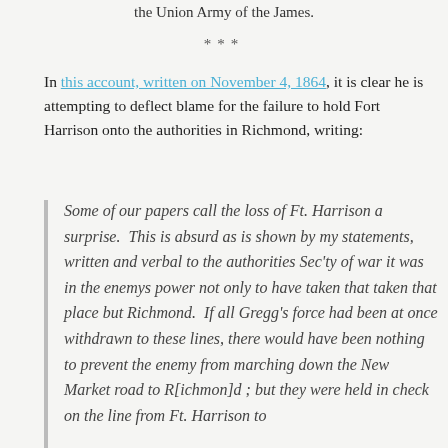the Union Army of the James.
***
In this account, written on November 4, 1864, it is clear he is attempting to deflect blame for the failure to hold Fort Harrison onto the authorities in Richmond, writing:
Some of our papers call the loss of Ft. Harrison a surprise.  This is absurd as is shown by my statements, written and verbal to the authorities Sec'ty of war it was in the enemys power not only to have taken that taken that place but Richmond.  If all Gregg's force had been at once withdrawn to these lines, there would have been nothing to prevent the enemy from marching down the New Market road to R[ichmon]d ; but they were held in check on the line from Ft. Harrison to